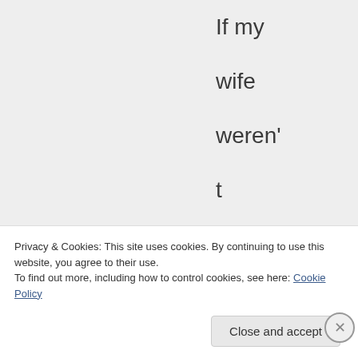If my wife weren't expecting any day now I'd be down
Privacy & Cookies: This site uses cookies. By continuing to use this website, you agree to their use.
To find out more, including how to control cookies, see here: Cookie Policy